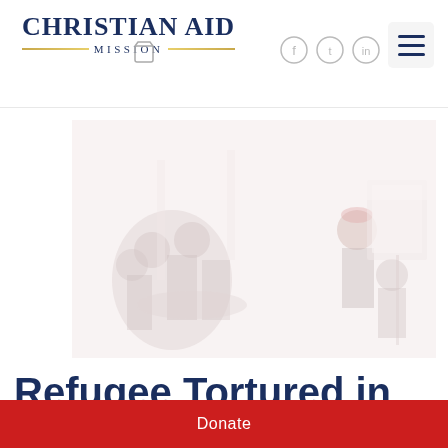Christian Aid Mission
[Figure (photo): A faded/washed-out photograph of people seated in a room, appearing to be in a meeting or gathering setting. The image is very light/overexposed.]
Refugee Tortured in
Donate